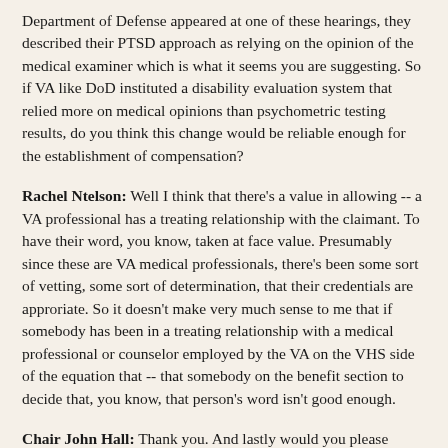Department of Defense appeared at one of these hearings, they described their PTSD approach as relying on the opinion of the medical examiner which is what it seems you are suggesting. So if VA like DoD instituted a disability evaluation system that relied more on medical opinions than psychometric testing results, do you think this change would be reliable enough for the establishment of compensation?
Rachel Ntelson: Well I think that there's a value in allowing -- a VA professional has a treating relationship with the claimant. To have their word, you know, taken at face value. Presumably since these are VA medical professionals, there's been some sort of vetting, some sort of determination, that their credentials are approriate. So it doesn't make very much sense to me that if somebody has been in a treating relationship with a medical professional or counselor employed by the VA on the VHS side of the equation that -- that somebody on the benefit section to decide that, you know, that person's word isn't good enough.
Chair John Hall: Thank you. And lastly would you please elaborate on your recommendation to incorporate upon request investigative files of harassment and sexual assault into the joint virtual lifetime electronic record. How would this help veterans?